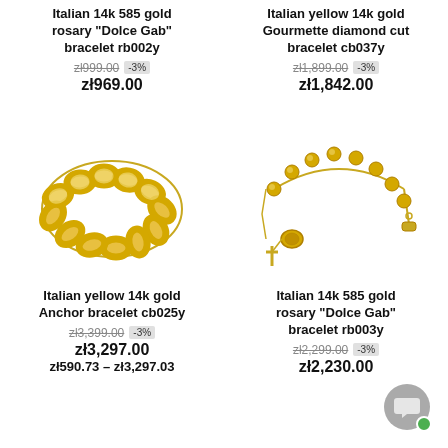Italian 14k 585 gold rosary "Dolce Gab" bracelet rb002y
Italian yellow 14k gold Gourmette diamond cut bracelet cb037y
zł999.00 -3% zł969.00
zł1,899.00 -3% zł1,842.00
[Figure (photo): Italian yellow 14k gold Anchor bracelet - gold chain bracelet with large oval links]
[Figure (photo): Italian 14k 585 gold rosary Dolce Gab bracelet - rosary bracelet with beads and cross charm]
Italian yellow 14k gold Anchor bracelet cb025y
Italian 14k 585 gold rosary "Dolce Gab" bracelet rb003y
zł3,399.00 -3% zł3,297.00 zł590.73 – zł3,297.03
zł2,299.00 -3% zł2,230.00